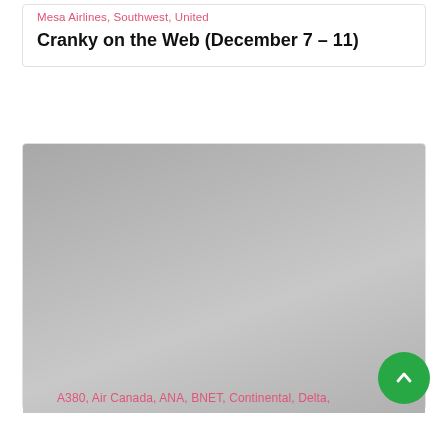Mesa Airlines, Southwest, United
Cranky on the Web (December 7 – 11)
[Figure (photo): Large gray placeholder image area, likely a blog post thumbnail image with gradient gray fill]
A380, Air Canada, ANA, BNET, Continental, Delta,